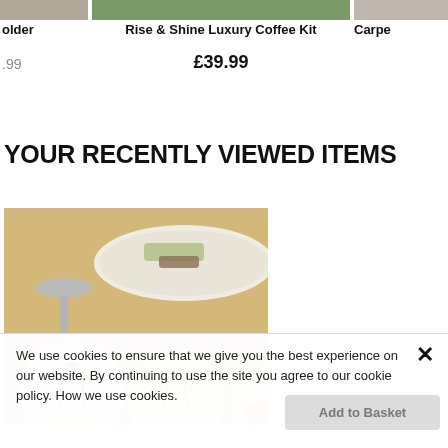[Figure (screenshot): Partial product image strip at top - left product (holder), center product (Rise & Shine Luxury Coffee Kit), right product (Carpe...) with images cropped at top]
older
Rise & Shine Luxury Coffee Kit
Carpe
£.99
£39.99
YOUR RECENTLY VIEWED ITEMS
[Figure (photo): Close-up photo of decorative glass dome paperweights with coral and sea creature designs, with a spoon and plate with food in the background]
We use cookies to ensure that we give you the best experience on our website. By continuing to use the site you agree to our cookie policy. How we use cookies.
Add to Basket